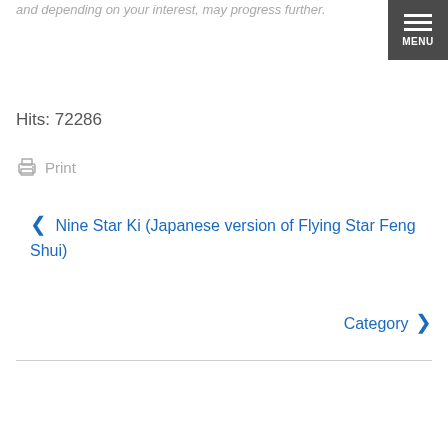and depending on your interest, may progress further.
[Figure (other): Dark grey menu button with three horizontal lines and MENU label]
Hits: 72286
Print
❮ Nine Star Ki (Japanese version of Flying Star Feng Shui)
Category ❯